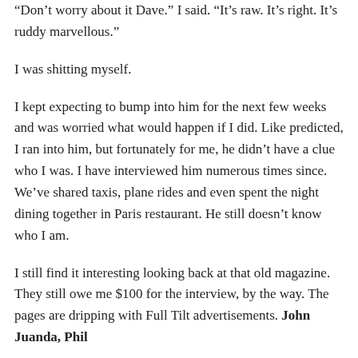“Don’t worry about it Dave.” I said. “It’s raw. It’s right. It’s ruddy marvellous.”
I was shitting myself.
I kept expecting to bump into him for the next few weeks and was worried what would happen if I did. Like predicted, I ran into him, but fortunately for me, he didn’t have a clue who I was. I have interviewed him numerous times since. We’ve shared taxis, plane rides and even spent the night dining together in Paris restaurant. He still doesn’t know who I am.
I still find it interesting looking back at that old magazine. They still owe me $100 for the interview, by the way. The pages are dripping with Full Tilt advertisements. John Juanda, Phil